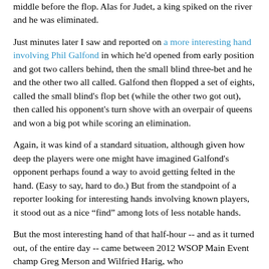middle before the flop. Alas for Judet, a king spiked on the river and he was eliminated.
Just minutes later I saw and reported on a more interesting hand involving Phil Galfond in which he'd opened from early position and got two callers behind, then the small blind three-bet and he and the other two all called. Galfond then flopped a set of eights, called the small blind's flop bet (while the other two got out), then called his opponent's turn shove with an overpair of queens and won a big pot while scoring an elimination.
Again, it was kind of a standard situation, although given how deep the players were one might have imagined Galfond's opponent perhaps found a way to avoid getting felted in the hand. (Easy to say, hard to do.) But from the standpoint of a reporter looking for interesting hands involving known players, it stood out as a nice “find” among lots of less notable hands.
But the most interesting hand of that half-hour -- and as it turned out, of the entire day -- came between 2012 WSOP Main Event champ Greg Merson and Wilfried Harig, who